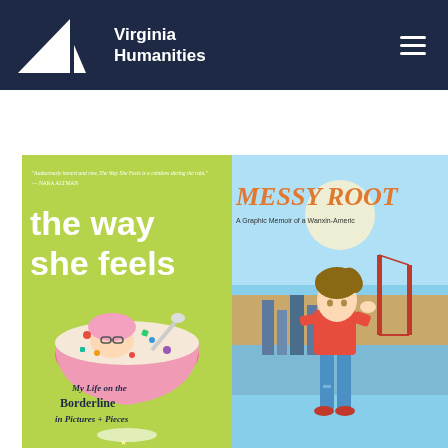Virginia Humanities
[Figure (illustration): Two book covers side by side. Left: 'the way she feels – My Life on the Borderline in Pictures + Pieces' on a lime-green background with a girl in a cereal bowl illustration. Right: 'MESSY ROOTS – A Graphic Memoir of a Wanxin-American' with a teen standing in front of San Francisco landmarks including the Golden Gate Bridge.]